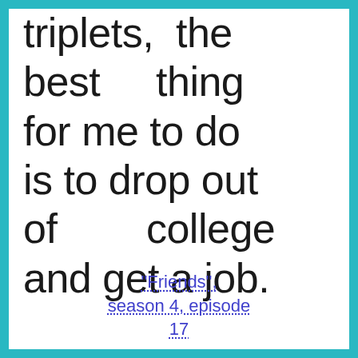triplets, the best thing for me to do is to drop out of college and get a job.
"Friends", season 4, episode 17